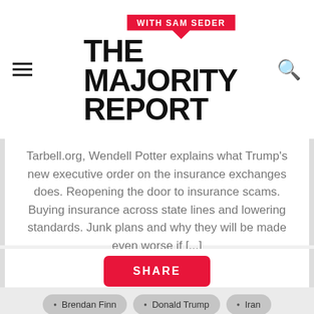[Figure (logo): The Majority Report with Sam Seder logo — red speech bubble with 'WITH SAM SEDER', below large black bold text 'THE MAJORITY REPORT']
Tarbell.org, Wendell Potter explains what Trump's new executive order on the insurance exchanges does. Reopening the door to insurance scams. Buying insurance across state lines and lowering standards. Junk plans and why they will be made even worse if [...]
SHARE
Brendan Finn
Donald Trump
Iran
jamie peck
Matt Lech
Michael Brooks
Nikki Haley
Sam Seder
Sebastian Gorka